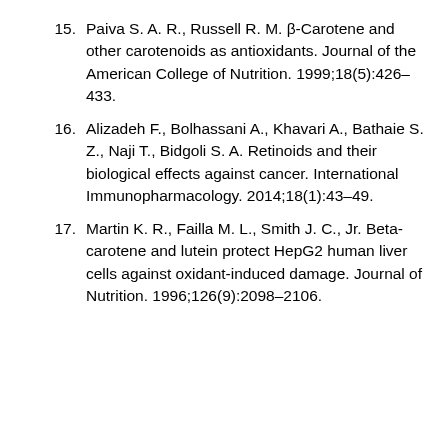15. Paiva S. A. R., Russell R. M. β-Carotene and other carotenoids as antioxidants. Journal of the American College of Nutrition. 1999;18(5):426–433.
16. Alizadeh F., Bolhassani A., Khavari A., Bathaie S. Z., Naji T., Bidgoli S. A. Retinoids and their biological effects against cancer. International Immunopharmacology. 2014;18(1):43–49.
17. Martin K. R., Failla M. L., Smith J. C., Jr. Beta-carotene and lutein protect HepG2 human liver cells against oxidant-induced damage. Journal of Nutrition. 1996;126(9):2098–2106.